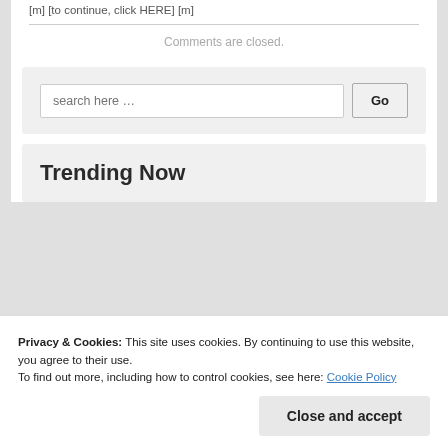[m] [to continue, click HERE] [m]
Comments are closed.
search here …
Trending Now
Privacy & Cookies: This site uses cookies. By continuing to use this website, you agree to their use.
To find out more, including how to control cookies, see here: Cookie Policy
Close and accept
the pain